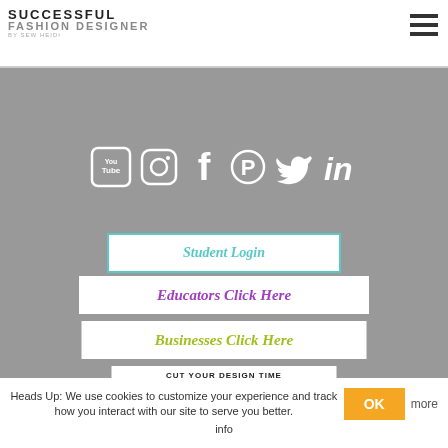SUCCESSFUL FASHION DESIGNER BY SEW HEIDI
[Figure (screenshot): Navigation sidebar with social media icons (YouTube, Instagram, Facebook, Pinterest, Twitter, LinkedIn) and three call-to-action buttons: Student Login, Educators Click Here, Businesses Click Here, and an advertisement banner for a free course to cut design time in half with AI shortcuts]
Heads Up: We use cookies to customize your experience and track how you interact with our site to serve you better. OK more info